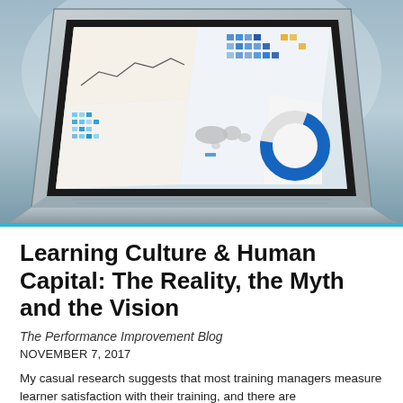[Figure (photo): A laptop computer open on a dark surface, displaying a dashboard with multiple data visualizations including charts, a world map, a donut chart, and a data table on screen.]
Learning Culture & Human Capital: The Reality, the Myth and the Vision
The Performance Improvement Blog
NOVEMBER 7, 2017
My casual research suggests that most training managers measure learner satisfaction with their training, and there are